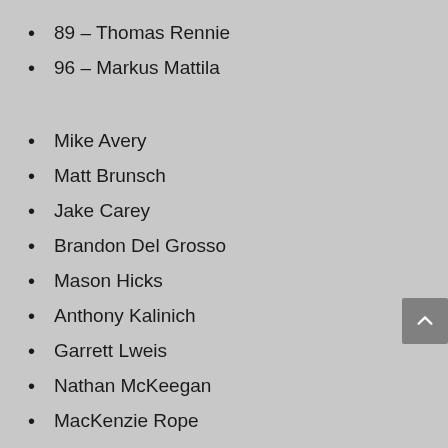89 – Thomas Rennie
96 – Markus Mattila
Mike Avery
Matt Brunsch
Jake Carey
Brandon Del Grosso
Mason Hicks
Anthony Kalinich
Garrett Lweis
Nathan McKeegan
MacKenzie Rope
Nick Scott
Jake Taylor
Adam Will